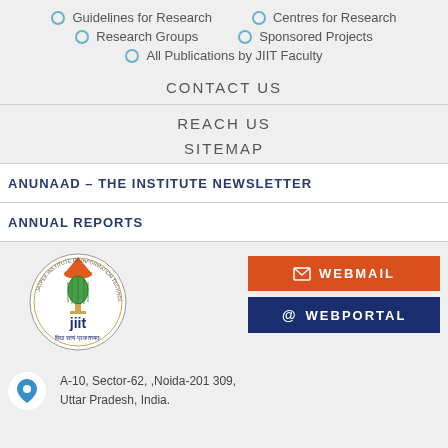Guidelines for Research
Centres for Research
Research Groups
Sponsored Projects
All Publications by JIIT Faculty
CONTACT US
REACH US
SITEMAP
ANUNAAD – THE INSTITUTE NEWSLETTER
ANNUAL REPORTS
[Figure (logo): JIIT - Jaypee Institute of Information Technology logo with circular emblem and text]
WEBMAIL
WEBPORTAL
A-10, Sector-62, ,Noida-201 309, Uttar Pradesh, India.